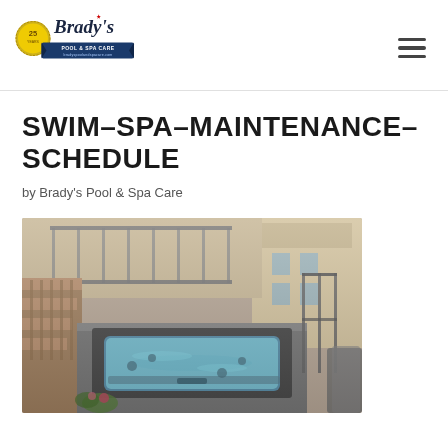Brady's Pool & Spa Care
SWIM-SPA-MAINTENANCE-SCHEDULE
by Brady's Pool & Spa Care
[Figure (photo): Aerial/overhead view of a swim spa with blue water, installed on a stone deck, surrounded by wooden stairs, railings, and a house exterior with balcony.]